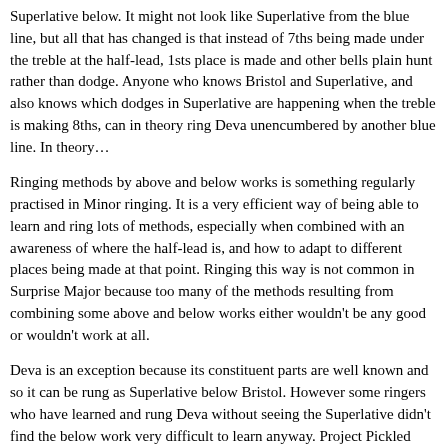Superlative below. It might not look like Superlative from the blue line, but all that has changed is that instead of 7ths being made under the treble at the half-lead, 1sts place is made and other bells plain hunt rather than dodge. Anyone who knows Bristol and Superlative, and also knows which dodges in Superlative are happening when the treble is making 8ths, can in theory ring Deva unencumbered by another blue line. In theory…
Ringing methods by above and below works is something regularly practised in Minor ringing. It is a very efficient way of being able to learn and ring lots of methods, especially when combined with an awareness of where the half-lead is, and how to adapt to different places being made at that point. Ringing this way is not common in Surprise Major because too many of the methods resulting from combining some above and below works either wouldn't be any good or wouldn't work at all.
Deva is an exception because its constituent parts are well known and so it can be rung as Superlative below Bristol. However some ringers who have learned and rung Deva without seeing the Superlative didn't find the below work very difficult to learn anyway. Project Pickled Egg is aiming to encourage an appreciation of method structure, and so being able to see that Deva is Superlative below is good. If it also gives an awareness of where the half-lead dodges are